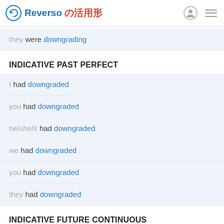Reverso の活用形
they were downgrading
INDICATIVE PAST PERFECT
I had downgraded
you had downgraded
he/she/it had downgraded
we had downgraded
you had downgraded
they had downgraded
INDICATIVE FUTURE CONTINUOUS